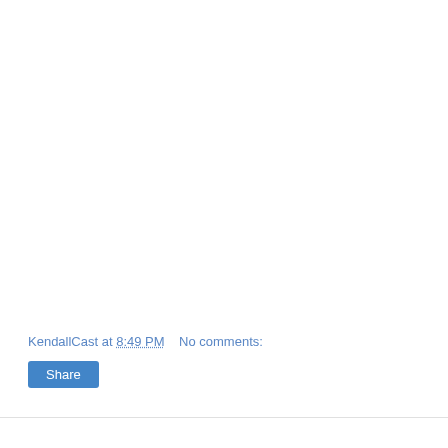KendallCast at 8:49 PM   No comments:
Share